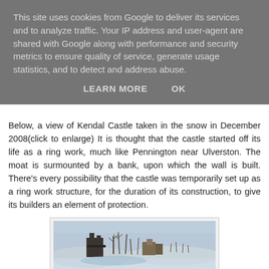This site uses cookies from Google to deliver its services and to analyze traffic. Your IP address and user-agent are shared with Google along with performance and security metrics to ensure quality of service, generate usage statistics, and to detect and address abuse.
LEARN MORE   OK
Below, a view of Kendal Castle taken in the snow in December 2008(click to enlarge) It is thought that the castle started off its life as a ring work, much like Pennington near Ulverston. The moat is surmounted by a bank, upon which the wall is built. There's every possibility that the castle was temporarily set up as a ring work structure, for the duration of its construction, to give its builders an element of protection.
[Figure (photo): A photograph of Kendal Castle taken in the snow in December 2008, showing castle ruins amid a snowy landscape with trees and open fields.]
Below, Kendal Castle from Abbot Hall park (click to